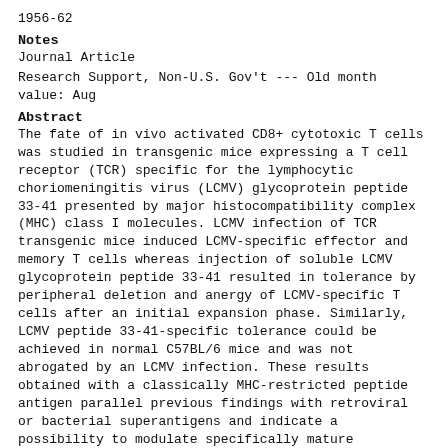1956-62
Notes
Journal Article
Research Support, Non-U.S. Gov't --- Old month value: Aug
Abstract
The fate of in vivo activated CD8+ cytotoxic T cells was studied in transgenic mice expressing a T cell receptor (TCR) specific for the lymphocytic choriomeningitis virus (LCMV) glycoprotein peptide 33-41 presented by major histocompatibility complex (MHC) class I molecules. LCMV infection of TCR transgenic mice induced LCMV-specific effector and memory T cells whereas injection of soluble LCMV glycoprotein peptide 33-41 resulted in tolerance by peripheral deletion and anergy of LCMV-specific T cells after an initial expansion phase. Similarly, LCMV peptide 33-41-specific tolerance could be achieved in normal C57BL/6 mice and was not abrogated by an LCMV infection. These results obtained with a classically MHC-restricted peptide antigen parallel previous findings with retroviral or bacterial superantigens and indicate a possibility to modulate specifically mature peripheral cytotoxic T lymphocytes in vivo.
Keywords
Animals Cell Death Cells, Cultured Humans *Immune Tolerance Lymphocyte Depletion Lymphocytic choriomeningitis virus/*immunology Mice Mice, Inbred C57BL Mice, Inbred DBA Mice, Transgenic Peptide Fragments/immunology Receptors, Antigen, T-Cell/genetics T-Lymphocytes, Cytotoxic/*immunology/physiology Viral Proteins/*immunology
OAI-PMH
oaiserval.unil.ch:BIB_1BD2BD3C5F3A
DOI